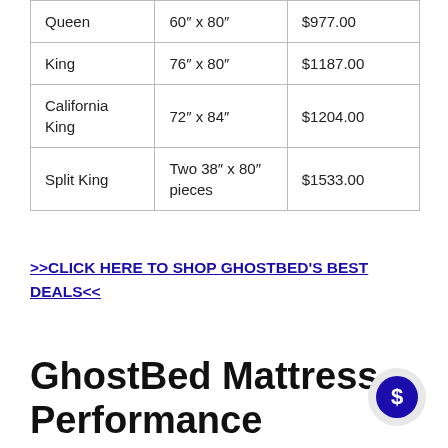| Queen | 60″ x 80″ | $977.00 |
| King | 76″ x 80″ | $1187.00 |
| California King | 72″ x 84″ | $1204.00 |
| Split King | Two 38″ x 80″ pieces | $1533.00 |
>>CLICK HERE TO SHOP GHOSTBED'S BEST DEALS<<
GhostBed Mattress Performance